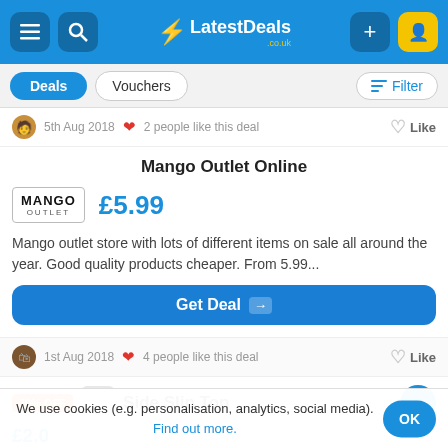LatestDeals.co.uk
Deals  Vouchers  Filter
5th Aug 2018  2 people like this deal  Like
Mango Outlet Online
£5.99
Mango outlet store with lots of different items on sale all around the year. Good quality products cheaper. From 5.99...
Get Deal
1st Aug 2018  4 people like this deal  Like
70% OFF  Side Slip Top
We use cookies (e.g. personalisation, analytics, social media). Find out more.  OK